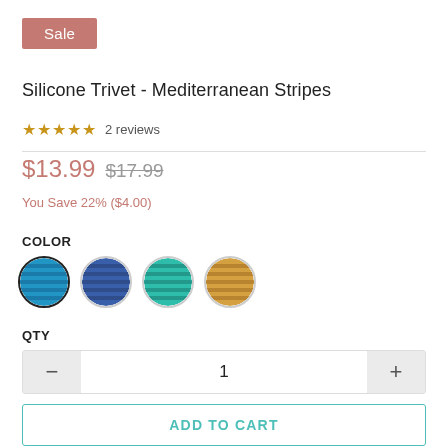Sale
Silicone Trivet - Mediterranean Stripes
★★★★★ 2 reviews
$13.99 $17.99
You Save 22% ($4.00)
COLOR
[Figure (other): Four circular color swatches: blue (selected), dark blue, teal/green, and golden/tan]
QTY
1
ADD TO CART